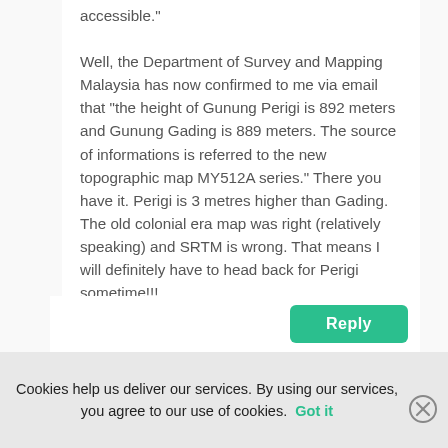accessible."

Well, the Department of Survey and Mapping Malaysia has now confirmed to me via email that "the height of Gunung Perigi is 892 meters and Gunung Gading is 889 meters. The source of informations is referred to the new topographic map MY512A series." There you have it. Perigi is 3 metres higher than Gading. The old colonial era map was right (relatively speaking) and SRTM is wrong. That means I will definitely have to head back for Perigi sometime!!!
Reply
Cookies help us deliver our services. By using our services, you agree to our use of cookies. Got it